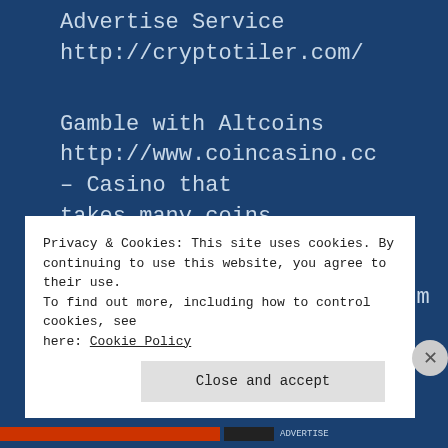Advertise Service
http://cryptotiler.com/
Gamble with Altcoins
http://www.coincasino.cc – Casino that takes many coins
http://www.litecointogox.com – Bet on LTC when it comes to GOX or coinbase –
Privacy & Cookies: This site uses cookies. By continuing to use this website, you agree to their use. To find out more, including how to control cookies, see here: Cookie Policy
Close and accept